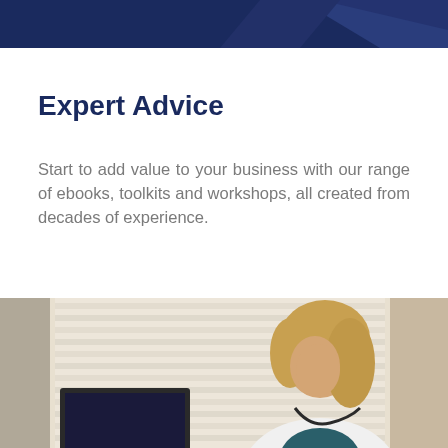[Figure (illustration): Dark navy blue geometric header bar with triangular shapes in the top portion of the page]
Expert Advice
Start to add value to your business with our range of ebooks, toolkits and workshops, all created from decades of experience.
[Figure (photo): A female doctor or medical professional with a stethoscope around her neck, looking down at a computer screen, with venetian blinds visible in the background]